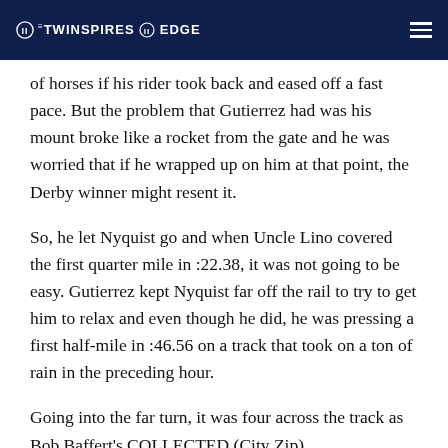THE TWINSPIRES EDGE
of horses if his rider took back and eased off a fast pace. But the problem that Gutierrez had was his mount broke like a rocket from the gate and he was worried that if he wrapped up on him at that point, the Derby winner might resent it.
So, he let Nyquist go and when Uncle Lino covered the first quarter mile in :22.38, it was not going to be easy. Gutierrez kept Nyquist far off the rail to try to get him to relax and even though he did, he was pressing a first half-mile in :46.56 on a track that took on a ton of rain in the preceding hour.
Going into the far turn, it was four across the track as Bob Baffert's COLLECTED (City Zip)